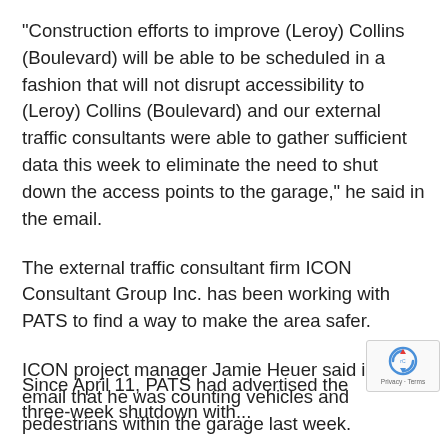“Construction efforts to improve (Leroy) Collins (Boulevard) will be able to be scheduled in a fashion that will not disrupt accessibility to (Leroy) Collins (Boulevard) and our external traffic consultants were able to gather sufficient data this week to eliminate the need to shut down the access points to the garage,” he said in the email.
The external traffic consultant firm ICON Consultant Group Inc. has been working with PATS to find a way to make the area safer.
ICON project manager Jamie Heuer said in an email that he was counting vehicles and pedestrians within the garage last week.
Since April 11, PATS had advertised the three-week shutdown with...
[Figure (logo): reCAPTCHA badge with Privacy and Terms text]